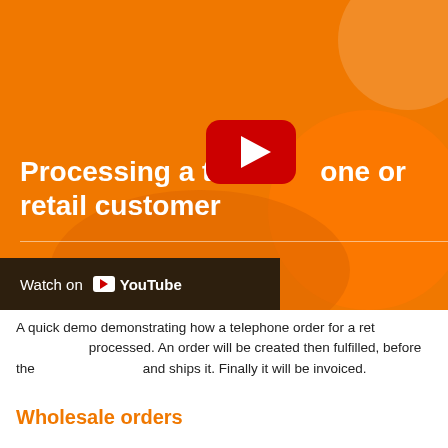[Figure (screenshot): YouTube video thumbnail showing an orange branded background with the title 'Processing a telephone order for a retail customer', a YouTube play button overlay, and a 'Watch on YouTube' bar at the bottom.]
A quick demo demonstrating how a telephone order for a retail customer is processed. An order will be created then fulfilled, before the warehouse picks and ships it. Finally it will be invoiced.
Wholesale orders